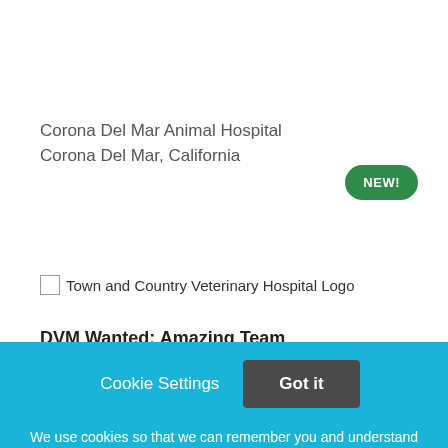Corona Del Mar Animal Hospital
Corona Del Mar, California
[Figure (other): Green oval badge with white bold text 'NEW!']
[Figure (logo): Town and Country Veterinary Hospital Logo — broken image placeholder with alt text]
DVM Wanted: Amazing Team
Town and Country Veterinary Hospital
Cookie Settings
Got it
We use cookies so that we can remember you and understand how you use our site. If you do not agree with our use of cookies, please change the current settings found in our Cookie Policy. Otherwise, you agree to the use of the cookies as they are currently set.